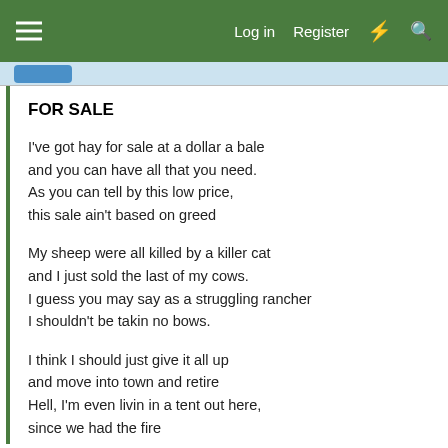Log in  Register
FOR SALE
I've got hay for sale at a dollar a bale
and you can have all that you need.
As you can tell by this low price,
this sale ain't based on greed
My sheep were all killed by a killer cat
and I just sold the last of my cows.
I guess you may say as a struggling rancher
I shouldn't be takin no bows.
I think I should just give it all up
and move into town and retire
Hell, I'm even livin in a tent out here,
since we had the fire